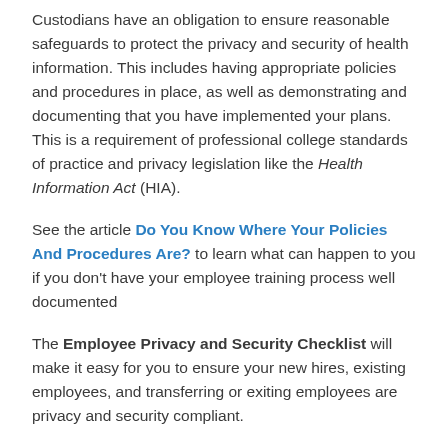Custodians have an obligation to ensure reasonable safeguards to protect the privacy and security of health information. This includes having appropriate policies and procedures in place, as well as demonstrating and documenting that you have implemented your plans. This is a requirement of professional college standards of practice and privacy legislation like the Health Information Act (HIA).
See the article Do You Know Where Your Policies And Procedures Are? to learn what can happen to you if you don't have your employee training process well documented
The Employee Privacy and Security Checklist will make it easy for you to ensure your new hires, existing employees, and transferring or exiting employees are privacy and security compliant.